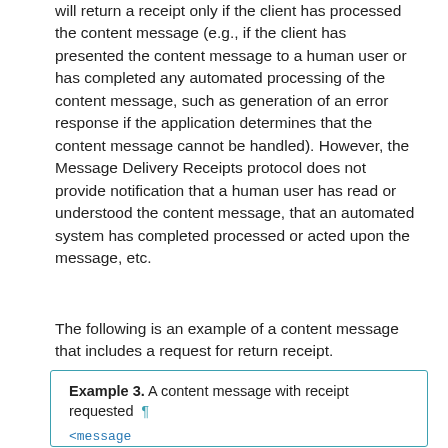will return a receipt only if the client has processed the content message (e.g., if the client has presented the content message to a human user or has completed any automated processing of the content message, such as generation of an error response if the application determines that the content message cannot be handled). However, the Message Delivery Receipts protocol does not provide notification that a human user has read or understood the content message, that an automated system has completed processed or acted upon the message, etc.
The following is an example of a content message that includes a request for return receipt.
Example 3. A content message with receipt requested ¶
<message
    from=!northumberland@shakespeare.lit/